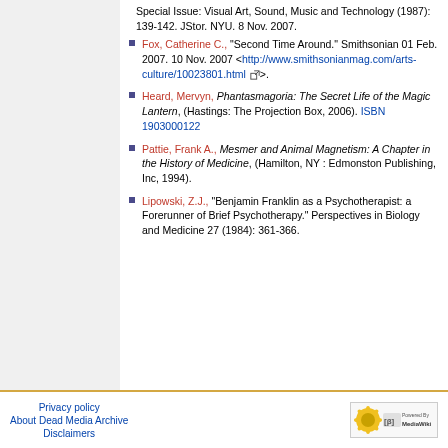Special Issue: Visual Art, Sound, Music and Technology (1987): 139-142. JStor. NYU. 8 Nov. 2007.
Fox, Catherine C., "Second Time Around." Smithsonian 01 Feb. 2007. 10 Nov. 2007 <http://www.smithsonianmag.com/arts-culture/10023801.html>.
Heard, Mervyn, Phantasmagoria: The Secret Life of the Magic Lantern, (Hastings: The Projection Box, 2006). ISBN 1903000122
Pattie, Frank A., Mesmer and Animal Magnetism: A Chapter in the History of Medicine, (Hamilton, NY : Edmonston Publishing, Inc, 1994).
Lipowski, Z.J., "Benjamin Franklin as a Psychotherapist: a Forerunner of Brief Psychotherapy." Perspectives in Biology and Medicine 27 (1984): 361-366.
Privacy policy   About Dead Media Archive   Disclaimers   Powered By MediaWiki